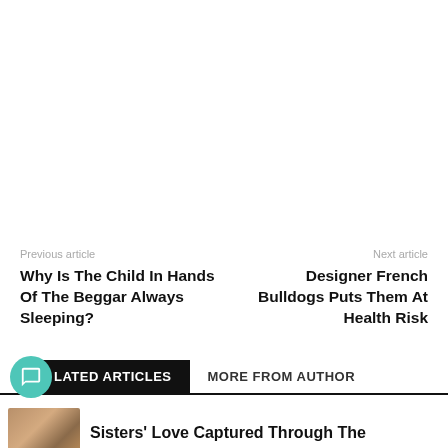Previous article
Next article
Why Is The Child In Hands Of The Beggar Always Sleeping?
Designer French Bulldogs Puts Them At Health Risk
RELATED ARTICLES
MORE FROM AUTHOR
Sisters' Love Captured Through The